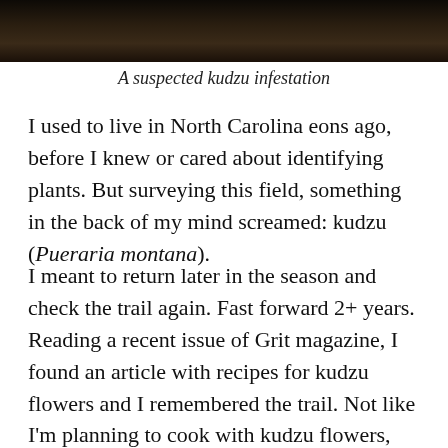[Figure (photo): Dark photograph of a suspected kudzu infestation, showing dense vegetation against a dark background]
A suspected kudzu infestation
I used to live in North Carolina eons ago, before I knew or cared about identifying plants. But surveying this field, something in the back of my mind screamed: kudzu (Pueraria montana).
I meant to return later in the season and check the trail again. Fast forward 2+ years. Reading a recent issue of Grit magazine, I found an article with recipes for kudzu flowers and I remembered the trail. Not like I’m planning to cook with kudzu flowers, since jelly, sorbet, and lemonade